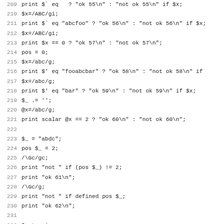Code listing lines 209-241, Perl regex test script